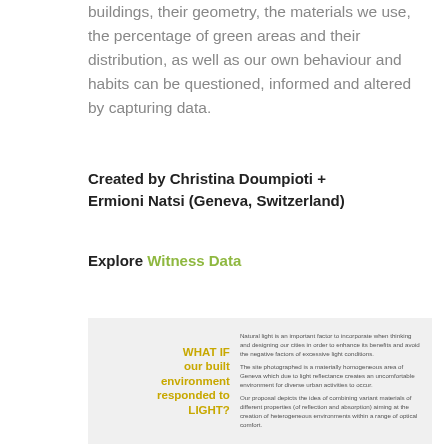buildings, their geometry, the materials we use, the percentage of green areas and their distribution, as well as our own behaviour and habits can be questioned, informed and altered by capturing data.
Created by Christina Doumpioti + Ermioni Natsi (Geneva, Switzerland)
Explore Witness Data
[Figure (infographic): Infographic with yellow/olive text on left reading 'WHAT IF our built environment responded to LIGHT?' and descriptive paragraph text on right explaining natural light, site photography of Geneva, and proposal for combining variant materials.]